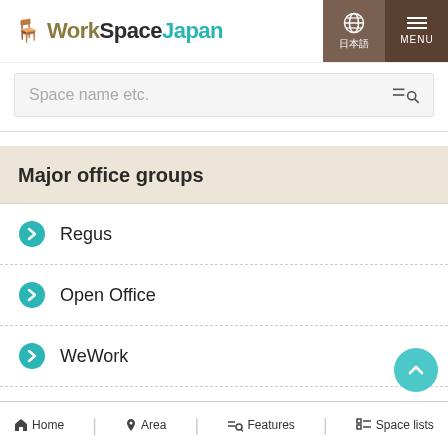WorkSpaceJapan
Space name etc.
Major office groups
Regus
Open Office
WeWork
BIZcomfort
Business Airport
Home | Area | Features | Space lists